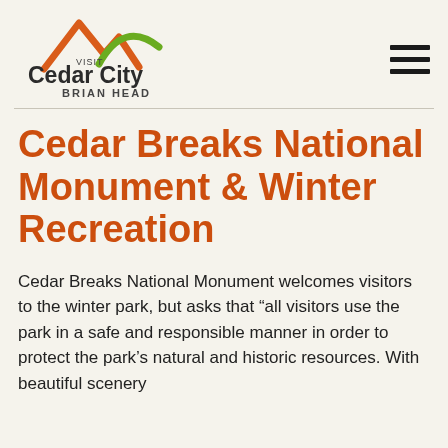VISIT Cedar City BRIAN HEAD
Cedar Breaks National Monument & Winter Recreation
Cedar Breaks National Monument welcomes visitors to the winter park, but asks that “all visitors use the park in a safe and responsible manner in order to protect the park’s natural and historic resources. With beautiful scenery